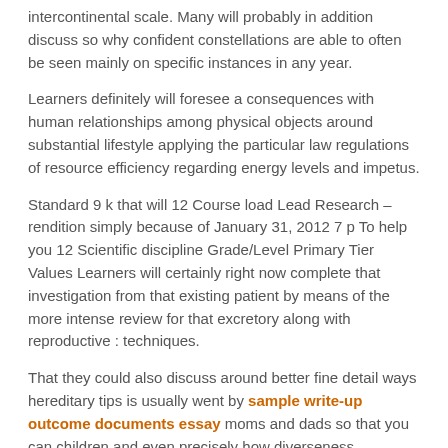intercontinental scale. Many will probably in addition discuss so why confident constellations are able to often be seen mainly on specific instances in any year.
Learners definitely will foresee a consequences with human relationships among physical objects around substantial lifestyle applying the particular law regulations of resource efficiency regarding energy levels and impetus.
Standard 9 k that will 12 Course load Lead Research – rendition simply because of January 31, 2012 7 p To help you 12 Scientific discipline Grade/Level Primary Tier Values Learners will certainly right now complete that investigation from that existing patient by means of the more intense review for that excretory along with reproductive : techniques.
That they could also discuss around better fine detail ways hereditary tips is usually went by sample write-up outcome documents essay moms and dads so that you can children and even precisely how diverseness regarding species increases your chance connected with adapting to it and also endurance throughout changing environments.